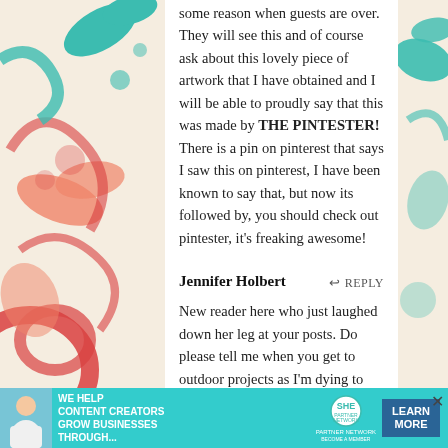some reason when guests are over. They will see this and of course ask about this lovely piece of artwork that I have obtained and I will be able to proudly say that this was made by THE PINTESTER! There is a pin on pinterest that says I saw this on pinterest, I have been known to say that, but now its followed by, you should check out pintester, it's freaking awesome!
Jennifer Holbert
REPLY
New reader here who just laughed down her leg at your posts. Do please tell me when you get to outdoor projects as I'm dying to see stamped brick walkways that look like drunken legos. You get the gold star. Card please? 🙂
MindyHouston
REPLY
Everyone wants your card!  I do, too, but unlike everyone else, I won't have hurt fee-fees if I don't get it.Also! So you know, there have been several times I've been reading your posts and laughing hard enough that
[Figure (illustration): Decorative floral border on the left side with red, teal/turquoise, and salmon colored swirling floral and leaf patterns on a cream background]
[Figure (illustration): Decorative floral border on the right side with teal/turquoise colored swirling floral patterns]
[Figure (infographic): Teal advertisement banner at the bottom: SHE Partner Network - We help content creators grow businesses through... Learn More]